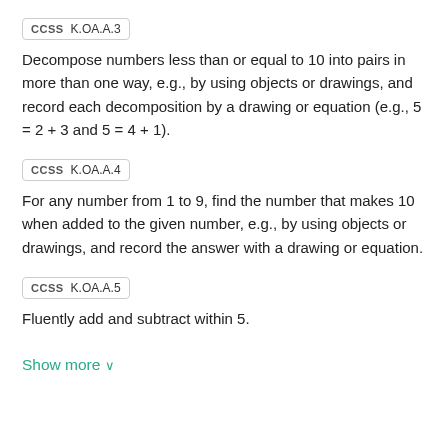CCSS  K.OA.A.3
Decompose numbers less than or equal to 10 into pairs in more than one way, e.g., by using objects or drawings, and record each decomposition by a drawing or equation (e.g., 5 = 2 + 3 and 5 = 4 + 1).
CCSS  K.OA.A.4
For any number from 1 to 9, find the number that makes 10 when added to the given number, e.g., by using objects or drawings, and record the answer with a drawing or equation.
CCSS  K.OA.A.5
Fluently add and subtract within 5.
Show more ∨